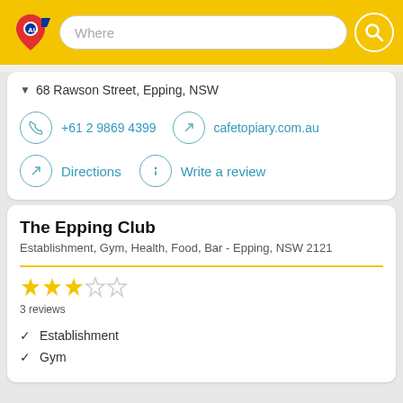Where [search bar with logo]
68 Rawson Street, Epping, NSW
+61 2 9869 4399
cafetopiary.com.au
Directions
Write a review
The Epping Club
Establishment, Gym, Health, Food, Bar - Epping, NSW 2121
3 reviews
Establishment
Gym